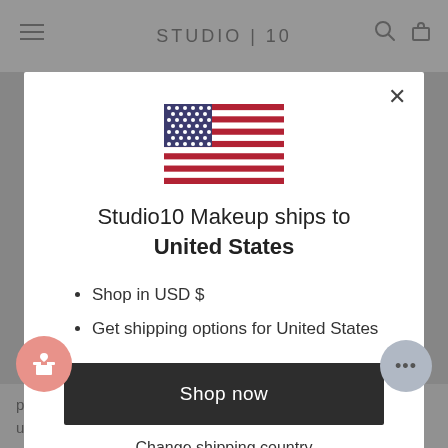STUDIO | 10
[Figure (illustration): US flag illustration inside modal dialog]
Studio10 Makeup ships to United States
Shop in USD $
Get shipping options for United States
Shop now
Change shipping country
panic. It's grim to be old. Wrinkles are ugly. I hate to underline it, but who says wrinkles are ugly? The